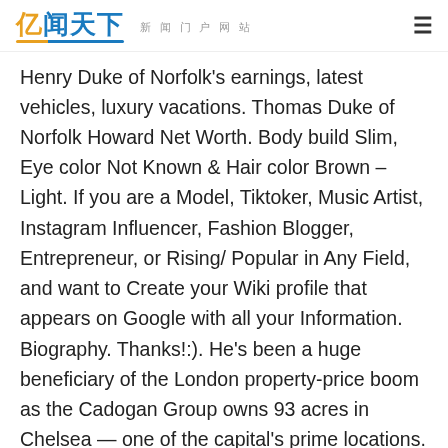亿闻天下 新闻门户网站
Henry Duke of Norfolk's earnings, latest vehicles, luxury vacations. Thomas Duke of Norfolk Howard Net Worth. Body build Slim, Eye color Not Known & Hair color Brown – Light. If you are a Model, Tiktoker, Music Artist, Instagram Influencer, Fashion Blogger, Entrepreneur, or Rising/ Popular in Any Field, and want to Create your Wiki profile that appears on Google with all your Information. Biography. Thanks!:). He's been a huge beneficiary of the London property-price boom as the Cadogan Group owns 93 acres in Chelsea — one of the capital's prime locations. Bernard Fitzalan-Howard 16th Duke of Norfolk Net Worth 2020, Age, Height, Relationships, Married, Dating, Family, Wiki Biography. Frederic William Maitland, (born May 28, 1850, London, England—died December 19, 1906, Las